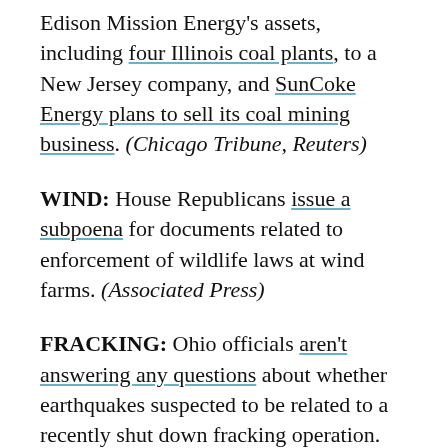Edison Mission Energy's assets, including four Illinois coal plants, to a New Jersey company, and SunCoke Energy plans to sell its coal mining business. (Chicago Tribune, Reuters)
WIND: House Republicans issue a subpoena for documents related to enforcement of wildlife laws at wind farms. (Associated Press)
FRACKING: Ohio officials aren't answering any questions about whether earthquakes suspected to be related to a recently shut down fracking operation. (Columbus Dispatch)
OIL AND GAS: North Dakota's oil boom is causing problems for farmers, radioactive oil field